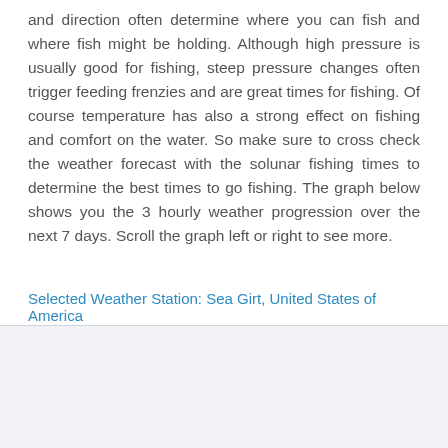and direction often determine where you can fish and where fish might be holding. Although high pressure is usually good for fishing, steep pressure changes often trigger feeding frenzies and are great times for fishing. Of course temperature has also a strong effect on fishing and comfort on the water. So make sure to cross check the weather forecast with the solunar fishing times to determine the best times to go fishing. The graph below shows you the 3 hourly weather progression over the next 7 days. Scroll the graph left or right to see more.
Selected Weather Station: Sea Girt, United States of America
[Figure (bar-chart): Temperature weather chart]